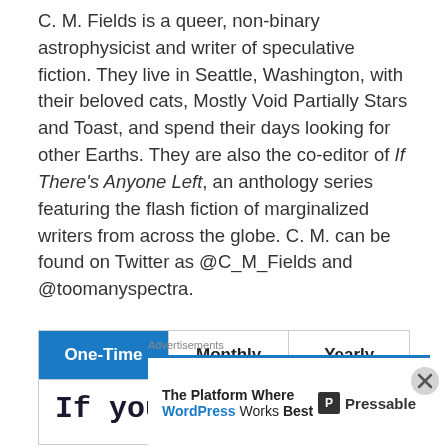C. M. Fields is a queer, non-binary astrophysicist and writer of speculative fiction. They live in Seattle, Washington, with their beloved cats, Mostly Void Partially Stars and Toast, and spend their days looking for other Earths. They are also the co-editor of If There's Anyone Left, an anthology series featuring the flash fiction of marginalized writers from across the globe. C. M. can be found on Twitter as @C_M_Fields and @toomanyspectra.
| One-Time | Monthly | Yearly |
| --- | --- | --- |
If you like this
Advertisements
The Platform Where WordPress Works Best — Pressable